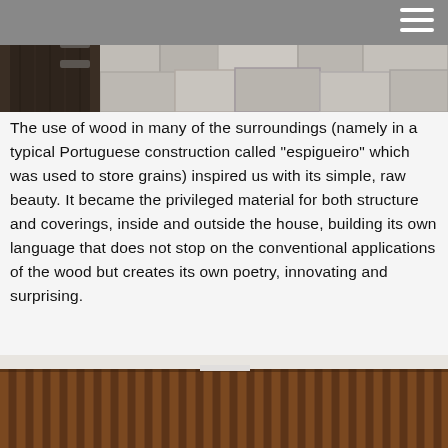[Figure (photo): Close-up photograph of a traditional stone wall with rough-hewn granite blocks and a wooden door or structure visible on the left side]
The use of wood in many of the surroundings (namely in a typical Portuguese construction called “espigueiro” which was used to store grains) inspired us with its simple, raw beauty. It became the privileged material for both structure and coverings, inside and outside the house, building its own language that does not stop on the conventional applications of the wood but creates its own poetry, innovating and surprising.
[Figure (photo): Photograph of a wooden slatted wall or facade with vertical dark-stained wood planks arranged in a repeating pattern, showing warm brown tones]